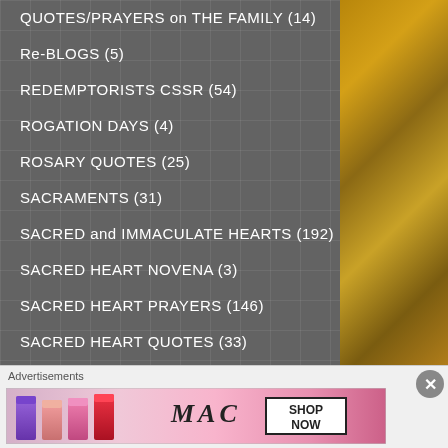QUOTES/PRAYERS on THE FAMILY (14)
Re-BLOGS (5)
REDEMPTORISTS CSSR (54)
ROGATION DAYS (4)
ROSARY QUOTES (25)
SACRAMENTS (31)
SACRED and IMMACULATE HEARTS (192)
SACRED HEART NOVENA (3)
SACRED HEART PRAYERS (146)
SACRED HEART QUOTES (33)
SACRED HEART REFLECTIONS (44)
Advertisements
[Figure (photo): MAC Cosmetics advertisement banner showing colorful lipsticks and SHOP NOW button]